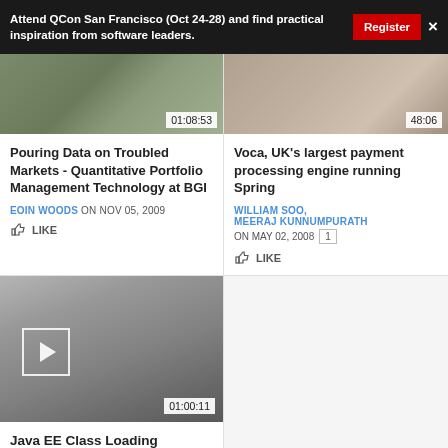Attend QCon San Francisco (Oct 24-28) and find practical inspiration from software leaders. Register ×
[Figure (screenshot): Video thumbnail with duration 01:08:53]
[Figure (screenshot): Video thumbnail with duration 48:06]
Pouring Data on Troubled Markets - Quantitative Portfolio Management Technology at BGI
Voca, UK's largest payment processing engine running Spring
EOIN WOODS ON NOV 05, 2009
WILLIAM SOO, MEERAJ KUNNUMPURATH ON MAY 02, 2008 1
LIKE
LIKE
[Figure (screenshot): Video thumbnail of person, duration 01:00:11, with play button]
Java EE Class Loading Architecture